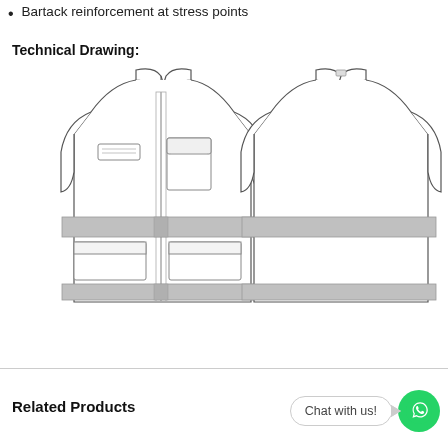Bartack reinforcement at stress points
Technical Drawing:
[Figure (engineering-diagram): Technical drawing of a safety vest shown from front and back. Front view (left) shows a sleeveless vest with a center zipper, two chest pockets (one with a flap), two lower patch pockets, and two horizontal reflective gray bands—one at the lower chest area and one near the hem. Back view (right) shows the plain back of the vest with the same two horizontal reflective gray bands and a loop/tab at the collar.]
Related Products
Chat with us!